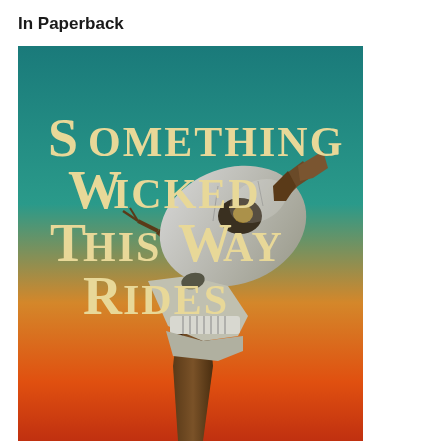In Paperback
[Figure (illustration): Book cover for 'Something Wicked This Way Rides' featuring a bleached animal skull mounted on a bare tree branch against a teal-to-orange gradient sky. The title text is displayed in a cream/gold serif font with decorative caps.]